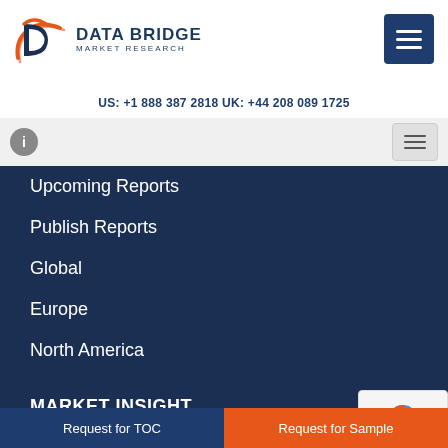[Figure (logo): Data Bridge Market Research logo with orange and navy blue stylized 'b/d' icon and company name text]
US: +1 888 387 2818 UK: +44 208 089 1725
Upcoming Reports
Publish Reports
Global
Europe
North America
Asia Pacific
MEA
Country Level
MARKET INSIGHT
Request for TOC
Request for Sample